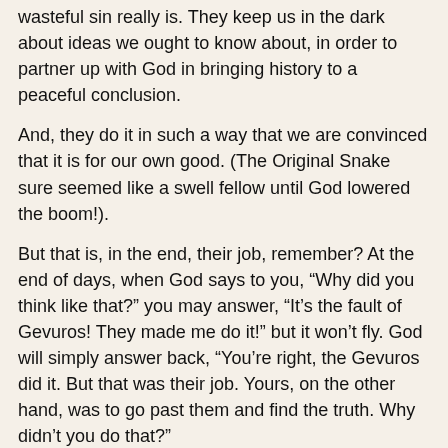wasteful sin really is. They keep us in the dark about ideas we ought to know about, in order to partner up with God in bringing history to a peaceful conclusion.
And, they do it in such a way that we are convinced that it is for our own good. (The Original Snake sure seemed like a swell fellow until God lowered the boom!).
But that is, in the end, their job, remember? At the end of days, when God says to you, “Why did you think like that?” you may answer, “It’s the fault of Gevuros! They made me do it!” but it won’t fly. God will simply answer back, “You’re right, the Gevuros did it. But that was their job. Yours, on the other hand, was to go past them and find the truth. Why didn’t you do that?”
Surprise!
We need to do ourselves a favor. We need to start thinking again. I don’t mean the kind of thinking that makes us excel at gemora or business, but the kind of thinking that allows us to see past the costumes of the modern world. Morgan Stanley and the rest of Wall Street and, before God, The rest